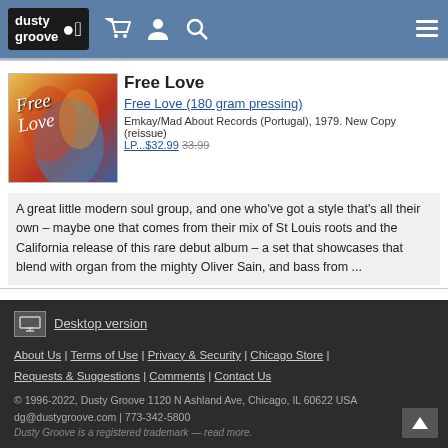dusty groove — header navigation with cart, account, search, and menu icons
Free Love
Free Love (180 gram pressing)
Emkay/Mad About Records (Portugal), 1979. New Copy (reissue)
LP...$32.99 33.99
A great little modern soul group, and one who've got a style that's all their own – maybe one that comes from their mix of St Louis roots and the California release of this rare debut album – a set that showcases that blend with organ from the mighty Oliver Sain, and bass from ...
Desktop version
About Us | Terms of Use | Privacy & Security | Chicago Store | Requests & Suggestions | Comments | Contact Us
© 1996-2022, Dusty Groove 1120 N Ashland Ave, Chicago, IL 60622 USA
dg@dustygroove.com | 773-342-5800
Dusty Groove is a registered trademark — read more.